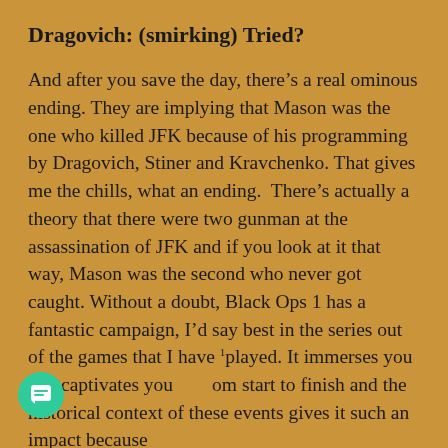Dragovich: (smirking) Tried?
And after you save the day, there's a real ominous ending. They are implying that Mason was the one who killed JFK because of his programming by Dragovich, Stiner and Kravchenko. That gives me the chills, what an ending.  There's actually a theory that there were two gunman at the assassination of JFK and if you look at it that way, Mason was the second who never got caught. Without a doubt, Black Ops 1 has a fantastic campaign, I'd say best in the series out of the games that I have played. It immerses you and captivates you from start to finish and the historical context of these events gives it such an impact because